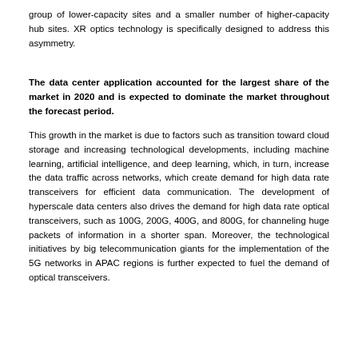group of lower-capacity sites and a smaller number of higher-capacity hub sites. XR optics technology is specifically designed to address this asymmetry.
The data center application accounted for the largest share of the market in 2020 and is expected to dominate the market throughout the forecast period.
This growth in the market is due to factors such as transition toward cloud storage and increasing technological developments, including machine learning, artificial intelligence, and deep learning, which, in turn, increase the data traffic across networks, which create demand for high data rate transceivers for efficient data communication. The development of hyperscale data centers also drives the demand for high data rate optical transceivers, such as 100G, 200G, 400G, and 800G, for channeling huge packets of information in a shorter span. Moreover, the technological initiatives by big telecommunication giants for the implementation of the 5G networks in APAC regions is further expected to fuel the demand of optical transceivers.